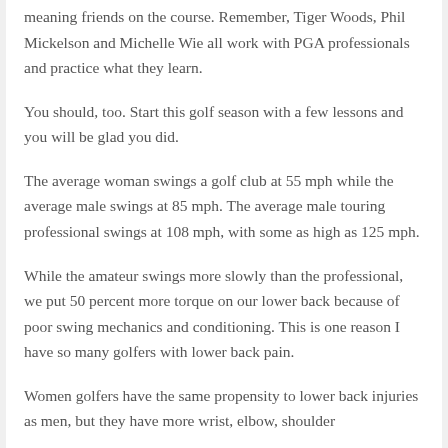meaning friends on the course. Remember, Tiger Woods, Phil Mickelson and Michelle Wie all work with PGA professionals and practice what they learn.
You should, too. Start this golf season with a few lessons and you will be glad you did.
The average woman swings a golf club at 55 mph while the average male swings at 85 mph. The average male touring professional swings at 108 mph, with some as high as 125 mph.
While the amateur swings more slowly than the professional, we put 50 percent more torque on our lower back because of poor swing mechanics and conditioning. This is one reason I have so many golfers with lower back pain.
Women golfers have the same propensity to lower back injuries as men, but they have more wrist, elbow, shoulder